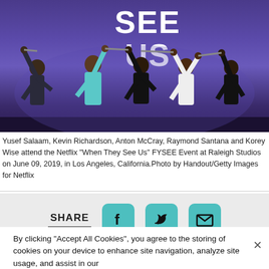[Figure (photo): Five men on a stage with hands raised and joined together. Behind them is a large screen showing the text 'SEE US' in white letters on a purple/blue background. The men are dressed casually, some wearing black t-shirts.]
Yusef Salaam, Kevin Richardson, Anton McCray, Raymond Santana and Korey Wise attend the Netflix "When They See Us" FYSEE Event at Raleigh Studios on June 09, 2019, in Los Angeles, California.Photo by Handout/Getty Images for Netflix
[Figure (infographic): Share section with SHARE label and three social media buttons: Facebook (f), Twitter (bird icon), and email (envelope icon), all on a light gray background.]
By clicking “Accept All Cookies”, you agree to the storing of cookies on your device to enhance site navigation, analyze site usage, and assist in our